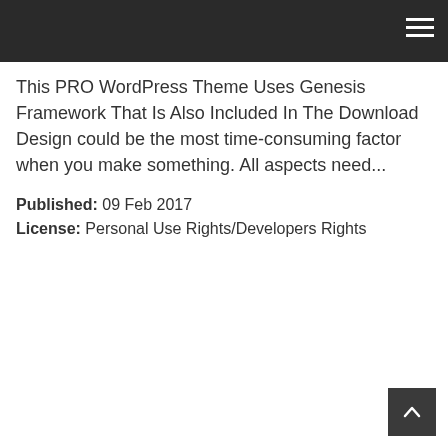This PRO WordPress Theme Uses Genesis Framework That Is Also Included In The Download Design could be the most time-consuming factor when you make something. All aspects need...
Published: 09 Feb 2017
License: Personal Use Rights/Developers Rights